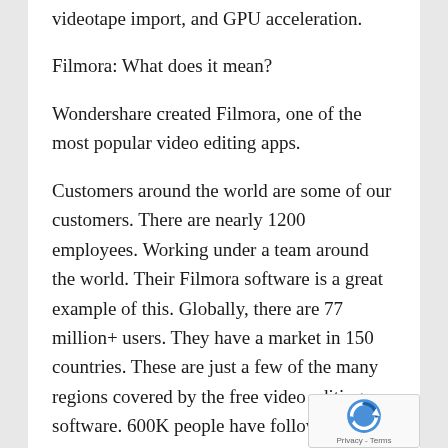videotape import, and GPU acceleration.
Filmora: What does it mean?
Wondershare created Filmora, one of the most popular video editing apps.
Customers around the world are some of our customers. There are nearly 1200 employees. Working under a team around the world. Their Filmora software is a great example of this. Globally, there are 77 million+ users. They have a market in 150 countries. These are just a few of the many regions covered by the free video editing software. 600K people have followed the free video editing software. The growth rate is steady. Th offer the best subscription plans and have easy acces methods. Experts can also provide technical support